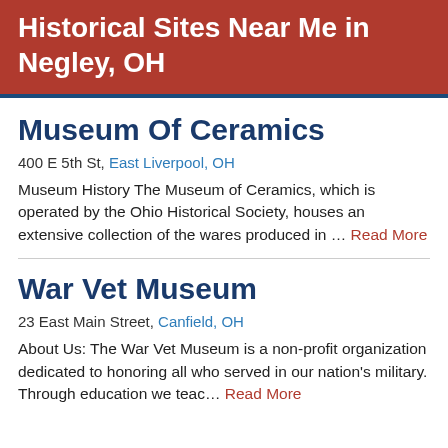Historical Sites Near Me in Negley, OH
Museum Of Ceramics
400 E 5th St, East Liverpool, OH
Museum History The Museum of Ceramics, which is operated by the Ohio Historical Society, houses an extensive collection of the wares produced in … Read More
War Vet Museum
23 East Main Street, Canfield, OH
About Us: The War Vet Museum is a non-profit organization dedicated to honoring all who served in our nation's military. Through education we teac… Read More